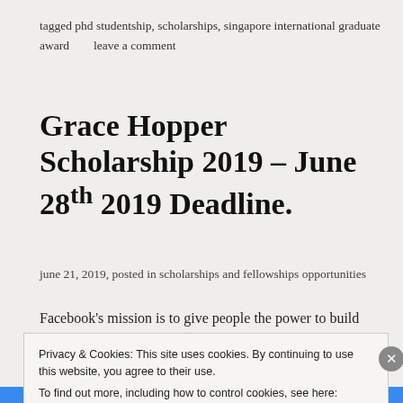tagged phd studentship, scholarships, singapore international graduate award        leave a comment
Grace Hopper Scholarship 2019 – June 28th 2019 Deadline.
june 21, 2019, posted in scholarships and fellowships opportunities
Facebook's mission is to give people the power to build community and bring the world closer together. Through our
Privacy & Cookies: This site uses cookies. By continuing to use this website, you agree to their use.
To find out more, including how to control cookies, see here: Cookie Policy
[Close and accept]